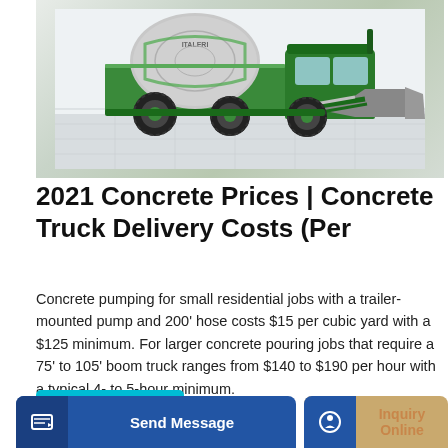[Figure (photo): Green concrete mixer truck (self-loading) with a rotating drum and front bucket loader, photographed in a bright showroom/warehouse setting.]
2021 Concrete Prices | Concrete Truck Delivery Costs (Per
Concrete pumping for small residential jobs with a trailer-mounted pump and 200' hose costs $15 per cubic yard with a $125 minimum. For larger concrete pouring jobs that require a 75' to 105' boom truck ranges from $140 to $190 per hour with a typical 4- to 5-hour minimum.
Learn More
Send Message
Inquiry Online